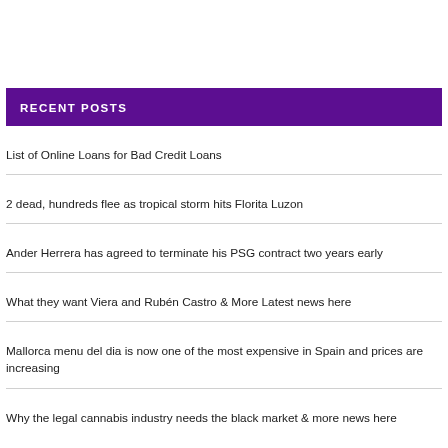RECENT POSTS
List of Online Loans for Bad Credit Loans
2 dead, hundreds flee as tropical storm hits Florita Luzon
Ander Herrera has agreed to terminate his PSG contract two years early
What they want Viera and Rubén Castro & More Latest news here
Mallorca menu del dia is now one of the most expensive in Spain and prices are increasing
Why the legal cannabis industry needs the black market & more news here